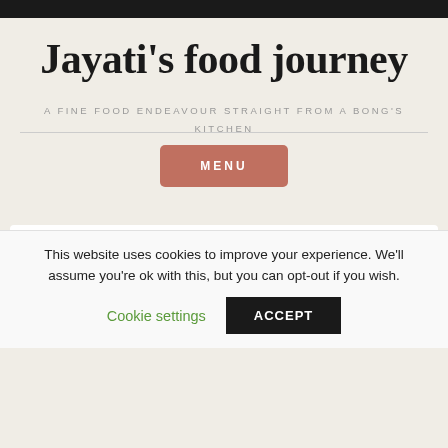Jayati's food journey
A FINE FOOD ENDEAVOUR STRAIGHT FROM A BONG'S KITCHEN
MENU
Narkel Posto Patol or P...
This website uses cookies to improve your experience. We'll assume you're ok with this, but you can opt-out if you wish.
Cookie settings
ACCEPT